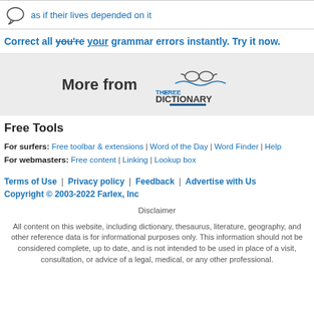as if their lives depended on it
Correct all you're your grammar errors instantly. Try it now.
[Figure (logo): More from The Free Dictionary by Farlex logo]
Free Tools
For surfers: Free toolbar & extensions | Word of the Day | Word Finder | Help
For webmasters: Free content | Linking | Lookup box
Terms of Use | Privacy policy | Feedback | Advertise with Us
Copyright © 2003-2022 Farlex, Inc
Disclaimer
All content on this website, including dictionary, thesaurus, literature, geography, and other reference data is for informational purposes only. This information should not be considered complete, up to date, and is not intended to be used in place of a visit, consultation, or advice of a legal, medical, or any other professional.